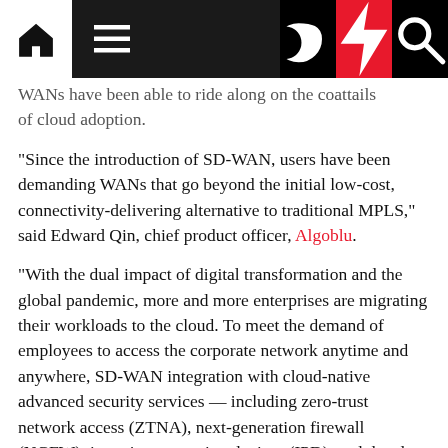Navigation bar with home, menu, dark mode, lightning/bookmark, and search icons
WANs have been able to ride along on the coattails of cloud adoption.
“Since the introduction of SD-WAN, users have been demanding WANs that go beyond the initial low-cost, connectivity-delivering alternative to traditional MPLS,” said Edward Qin, chief product officer, Algoblu.
“With the dual impact of digital transformation and the global pandemic, more and more enterprises are migrating their workloads to the cloud. To meet the demand of employees to access the corporate network anytime and anywhere, SD-WAN integration with cloud-native advanced security services — including zero-trust network access (ZTNA), next-generation firewall (NGFW), intrusion protection devices (IPD), and data loss protection